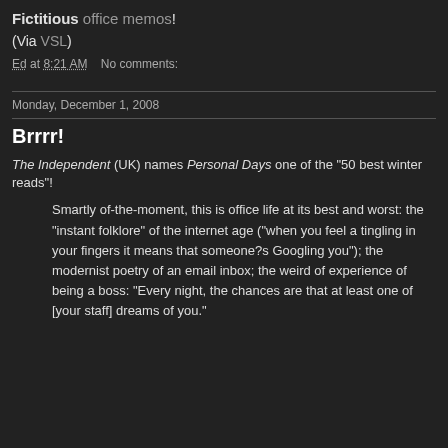Fictitious office memos!
(Via VSL)
Ed at 8:21 AM    No comments:
Monday, December 1, 2008
Brrrr!
The Independent (UK) names Personal Days one of the "50 best winter reads"!
Smartly of-the-moment, this is office life at its best and worst: the "instant folklore" of the internet age ("when you feel a tingling in your fingers it means that someone?s Googling you"); the modernist poetry of an email inbox; the weird of experience of being a boss: "Every night, the chances are that at least one of [your staff] dreams of you."